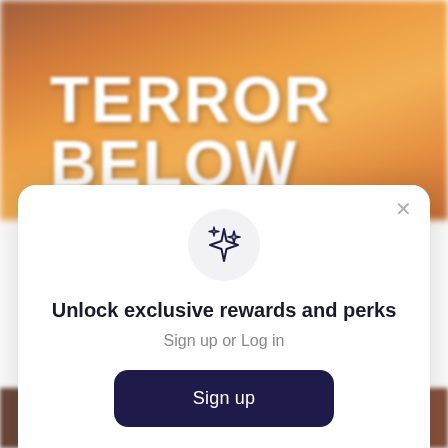[Figure (screenshot): Blurred background showing a board game box with orange packaging and 'TERROR BELOW' text in white bold letters]
[Figure (screenshot): Modal dialog with sparkle icon, title 'Unlock exclusive rewards and perks', subtitle 'Sign up or Log in', a dark navy Sign up button, close X button, and 'Already have an account? Sign in' link]